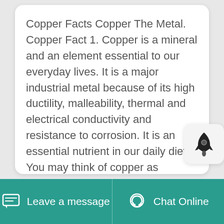Copper Facts Copper The Metal. Copper Fact 1. Copper is a mineral and an element essential to our everyday lives. It is a major industrial metal because of its high ductility, malleability, thermal and electrical conductivity and resistance to corrosion. It is an essential nutrient in our daily diet. You may think of copper as something to do with wiring and electronics, but its also an important mineral that you take into your body when you eat some types of seafood, nuts, veggies, fruit ...
[Figure (other): Teal rounded button with text INQUIRY >>]
[Figure (other): Rocket icon button in light grey rounded square]
Leave a message   Chat Online